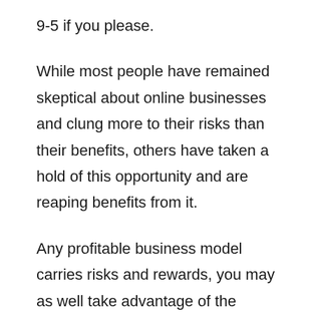9-5 if you please.
While most people have remained skeptical about online businesses and clung more to their risks than their benefits, others have taken a hold of this opportunity and are reaping benefits from it.
Any profitable business model carries risks and rewards, you may as well take advantage of the opportunity of online-based businesses and join the club of people that are benefiting.
While this is just a general list of benefits for